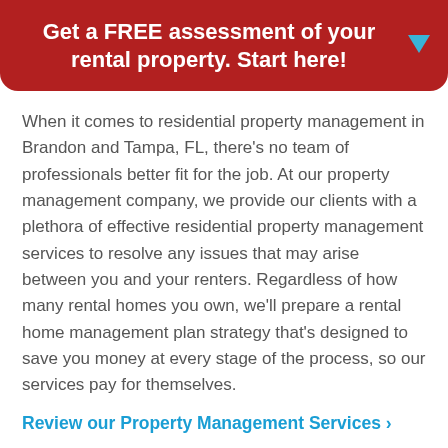Get a FREE assessment of your rental property. Start here!
When it comes to residential property management in Brandon and Tampa, FL, there's no team of professionals better fit for the job. At our property management company, we provide our clients with a plethora of effective residential property management services to resolve any issues that may arise between you and your renters. Regardless of how many rental homes you own, we'll prepare a rental home management plan strategy that's designed to save you money at every stage of the process, so our services pay for themselves.
Review our Property Management Services ›
Offering Dependable Investment Property Management Solutions